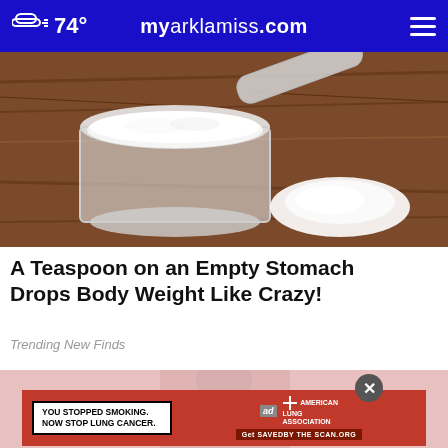74° myarklamiss.com
[Figure (photo): A clear measuring cup filled with white powder (sugar or similar) sitting on a wooden surface, with a spoonful and a small pile of white powder beside it.]
A Teaspoon on an Empty Stomach Drops Body Weight Like Crazy!
Trending New Finds
[Figure (photo): Partially visible image below with an advertisement overlay. Ad reads: YOU STOPPED SMOKING. NOW STOP LUNG CANCER. with American Lung Association branding and GetSAVEDByTHESCAN.org call to action.]